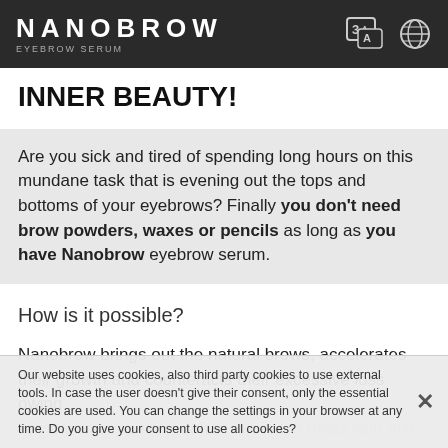NANOBROW EYEBROW SERUM
INNER BEAUTY!
Are you sick and tired of spending long hours on this mundane task that is evening out the tops and bottoms of your eyebrows? Finally you don't need brow powders, waxes or pencils as long as you have Nanobrow eyebrow serum.
How is it possible?
Nanobrow brings out the natural brows, accelerates their growth and counteracts their excessive loss owing
Our website uses cookies, also third party cookies to use external tools. In case the user doesn't give their consent, only the essential cookies are used. You can change the settings in your browser at any time. Do you give your consent to use all cookies?